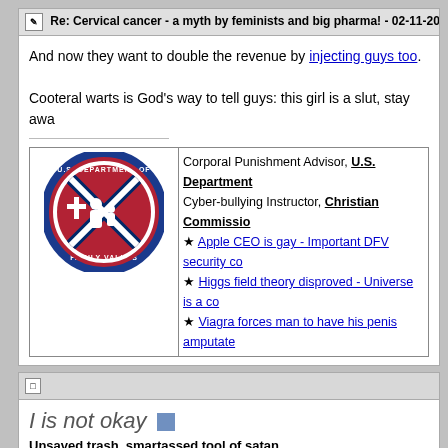Re: Cervical cancer - a myth by feminists and big pharma! - 02-11-2013,
And now they want to double the revenue by injecting guys too.
Cooteral warts is God's way to tell guys: this girl is a slut, stay awa...
[Figure (logo): U.S. Department of Family Values circular logo with Confederate flag background]
Corporal Punishment Advisor, U.S. Department... Cyber-bullying Instructor, Christian Commission... ★ Apple CEO is gay - Important DFV security co... ★ Higgs field theory disproved - Universe is a co... ★ Viagra forces man to have his penis amputate...
I is not okay
Unsaved trash, smartassed tool of satan
Under Investigation
Re: Cervical cancer - a myth by feminists and big pharma! - 02-23-2014,
This is... It also appears that...